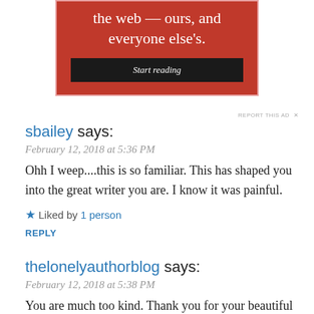[Figure (illustration): Red advertisement block with text 'the web — ours, and everyone else's.' and a black 'Start reading' button]
REPORT THIS AD
sbailey says:
February 12, 2018 at 5:36 PM
Ohh I weep....this is so familiar. This has shaped you into the great writer you are. I know it was painful.
Liked by 1 person
REPLY
thelonelyauthorblog says:
February 12, 2018 at 5:38 PM
You are much too kind. Thank you for your beautiful words. i